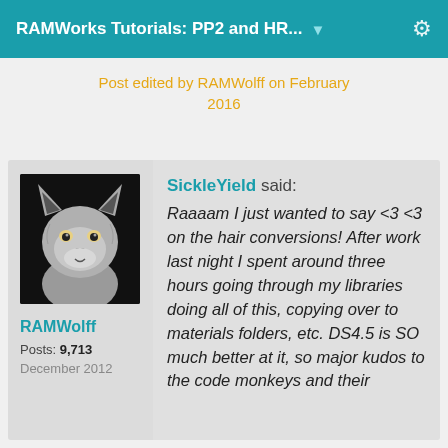RAMWorks Tutorials: PP2 and HR...
Post edited by RAMWolff on February 2016
RAMWolff
Posts: 9,713
December 2012
SickleYield said:
Raaaam I just wanted to say <3 <3 on the hair conversions! After work last night I spent around three hours going through my libraries doing all of this, copying over to materials folders, etc. DS4.5 is SO much better at it, so major kudos to the code monkeys and their